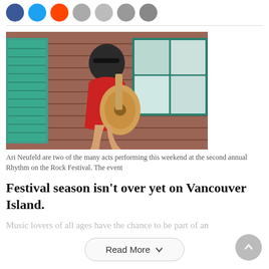[Figure (photo): Social media share icons: Facebook (blue), Twitter (light blue), Reddit (orange), and four gray icons in a row]
[Figure (photo): A woman in a red top playing an acoustic guitar, leaning against a brick wall with teal shuttered windows]
Ari Neufeld are two of the many acts performing this weekend at the second annual Rhythm on the Rock Festival. The event
Festival season isn't over yet on Vancouver Island.
Music lovers of all ages have the chance to be part of an